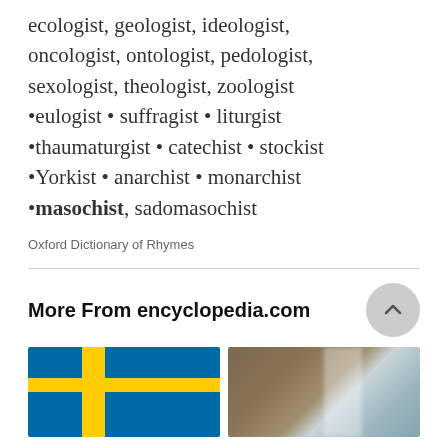ecologist, geologist, ideologist, oncologist, ontologist, pedologist, sexologist, theologist, zoologist •eulogist • suffragist • liturgist •thaumaturgist • catechist • stockist •Yorkist • anarchist • monarchist •masochist, sadomasochist
Oxford Dictionary of Rhymes
More From encyclopedia.com
[Figure (photo): Swedish flag - blue background with yellow cross]
[Figure (photo): Waterfall in rocky landscape with light coming from above]